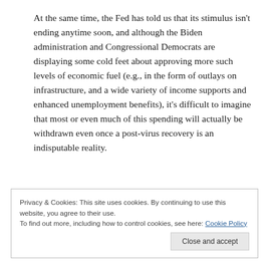At the same time, the Fed has told us that its stimulus isn't ending anytime soon, and although the Biden administration and Congressional Democrats are displaying some cold feet about approving more such levels of economic fuel (e.g., in the form of outlays on infrastructure, and a wide variety of income supports and enhanced unemployment benefits), it's difficult to imagine that most or even much of this spending will actually be withdrawn even once a post-virus recovery is an indisputable reality.
Privacy & Cookies: This site uses cookies. By continuing to use this website, you agree to their use. To find out more, including how to control cookies, see here: Cookie Policy
Close and accept